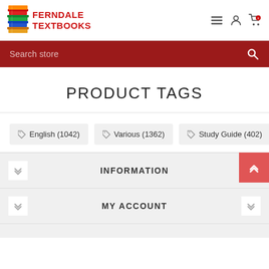[Figure (logo): Ferndale Textbooks logo with stacked colorful books and red bold text]
Search store
PRODUCT TAGS
English (1042)
Various (1362)
Study Guide (402)
INFORMATION
MY ACCOUNT